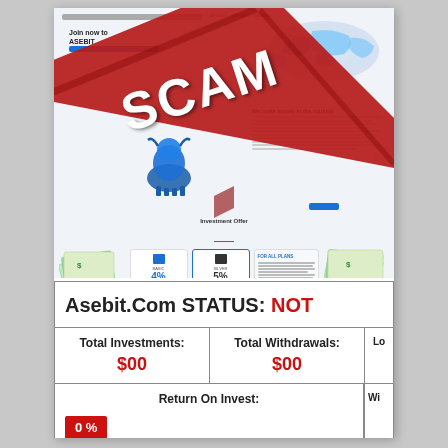[Figure (screenshot): Screenshot of Asebit.com investment website showing navigation bar, 'Join now ASEBIT' hero text, world map graphic, blue bull statue, body text 'We make money in the markets', investment offer section with cards showing 4% and 5% returns, money cash images on sides, overlaid with a diagonal red SCAM ribbon banner]
| Asebit.Com STATUS: NOT |  | Lo |
| --- | --- | --- |
| Total Investments:
$00 | Total Withdrawals:
$00 | Lo |
| Return On Invest:
0 % |  | Wi |